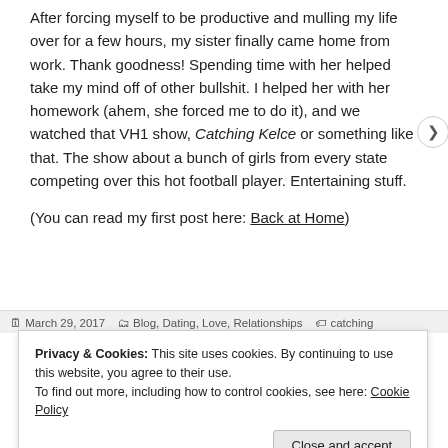After forcing myself to be productive and mulling my life over for a few hours, my sister finally came home from work. Thank goodness! Spending time with her helped take my mind off of other bullshit. I helped her with her homework (ahem, she forced me to do it), and we watched that VH1 show, Catching Kelce or something like that. The show about a bunch of girls from every state competing over this hot football player. Entertaining stuff.
(You can read my first post here: Back at Home)
March 29, 2017   Blog, Dating, Love, Relationships   catching
Privacy & Cookies: This site uses cookies. By continuing to use this website, you agree to their use.
To find out more, including how to control cookies, see here: Cookie Policy